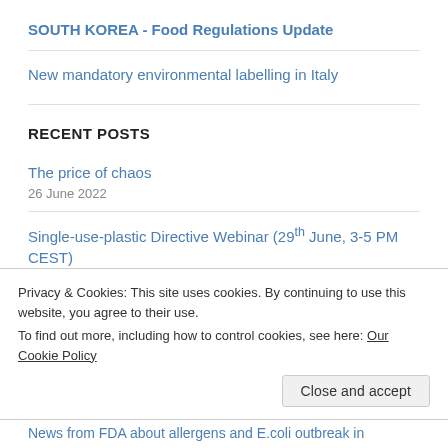SOUTH KOREA - Food Regulations Update
New mandatory environmental labelling in Italy
RECENT POSTS
The price of chaos
26 June 2022
Single-use-plastic Directive Webinar (29th June, 3-5 PM CEST)
19 June 2022
Privacy & Cookies: This site uses cookies. By continuing to use this website, you agree to their use.
To find out more, including how to control cookies, see here: Our Cookie Policy
Close and accept
News from FDA about allergens and E.coli outbreak in